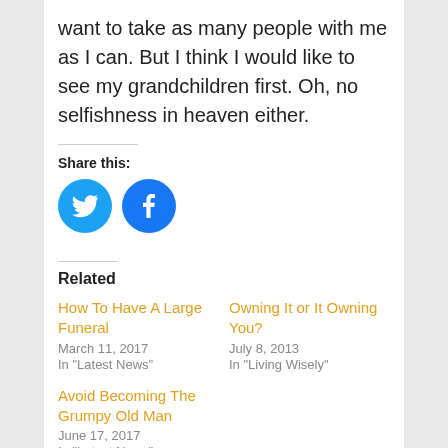want to take as many people with me as I can. But I think I would like to see my grandchildren first. Oh, no selfishness in heaven either.
Share this:
[Figure (illustration): Two circular social media icons: Twitter (blue bird) and Facebook (blue f)]
Related
How To Have A Large Funeral
March 11, 2017
In "Latest News"
Owning It or It Owning You?
July 8, 2013
In "Living Wisely"
Avoid Becoming The Grumpy Old Man
June 17, 2017
In "Latest News"